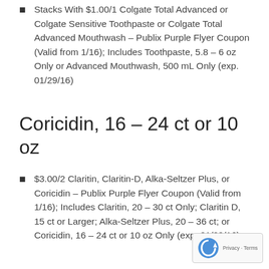Stacks With $1.00/1 Colgate Total Advanced or Colgate Sensitive Toothpaste or Colgate Total Advanced Mouthwash – Publix Purple Flyer Coupon (Valid from 1/16); Includes Toothpaste, 5.8 – 6 oz Only or Advanced Mouthwash, 500 mL Only (exp. 01/29/16)
Coricidin, 16 – 24 ct or 10 oz
$3.00/2 Claritin, Claritin-D, Alka-Seltzer Plus, or Coricidin – Publix Purple Flyer Coupon (Valid from 1/16); Includes Claritin, 20 – 30 ct Only; Claritin D, 15 ct or Larger; Alka-Seltzer Plus, 20 – 36 ct; or Coricidin, 16 – 24 ct or 10 oz Only (exp. 01/29/16)